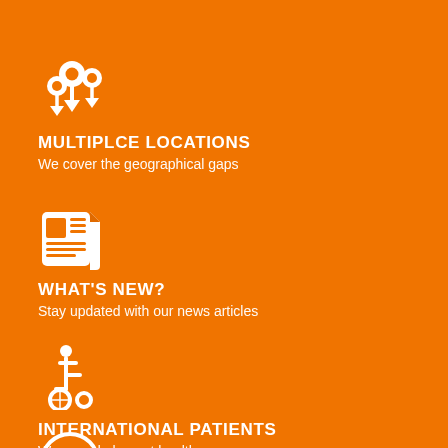[Figure (illustration): White map pin / location marker icon with multiple pins on orange background]
MULTIPLCE LOCATIONS
We cover the geographical gaps
[Figure (illustration): White newspaper/article icon on orange background]
WHAT'S NEW?
Stay updated with our news articles
[Figure (illustration): White wheelchair accessibility icon on orange background]
INTERNATIONAL PATIENTS
We provide largest healthcare
[Figure (illustration): White 24-hour phone icon (phone with circular 24 badge) on orange background]